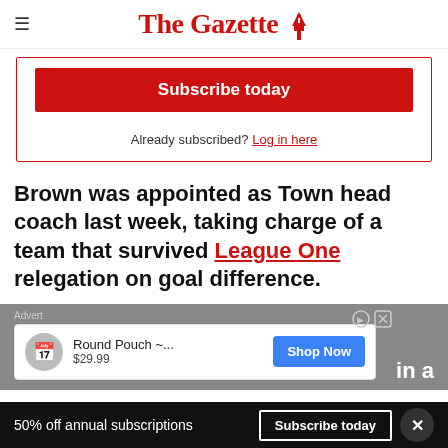The Gazette
[Figure (infographic): Subscribe today button and 'Already subscribed? Log in here' link inside a red-bordered box]
Brown was appointed as Town head coach last week, taking charge of a team that survived League One relegation on goal difference.
[Figure (infographic): Advertisement banner with Round Pouch ~... $29.99 Shop Now ad card and partial text 'in a']
50% off annual subscriptions  Subscribe today